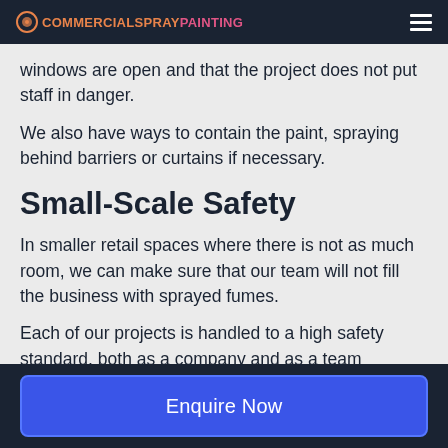COMMERCIALSPRAYPAINTING
windows are open and that the project does not put staff in danger.
We also have ways to contain the paint, spraying behind barriers or curtains if necessary.
Small-Scale Safety
In smaller retail spaces where there is not as much room, we can make sure that our team will not fill the business with sprayed fumes.
Each of our projects is handled to a high safety standard, both as a company and as a team
Enquire Now